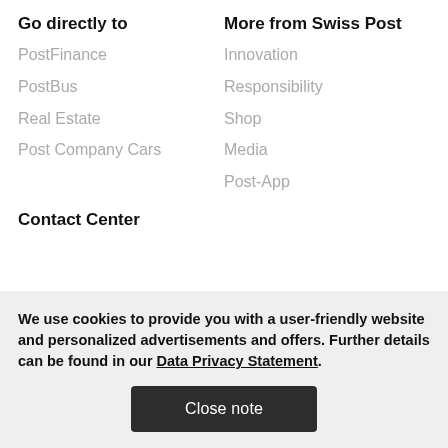Go directly to
PostFinance
PostBus
Real Estate
Post Company Cars
More from Swiss Post
Innovation
Responsibility
Shop
Media
Post-App
Contact Center
We use cookies to provide you with a user-friendly website and personalized advertisements and offers. Further details can be found in our Data Privacy Statement.
Close note